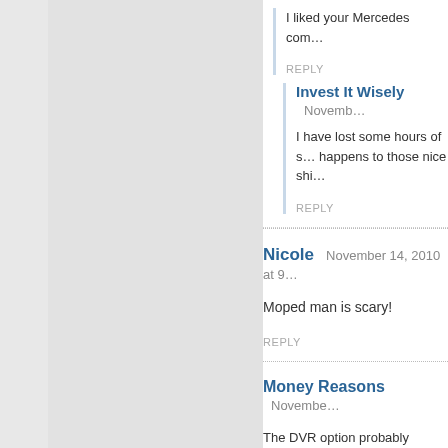I liked your Mercedes com…
REPLY
Invest It Wisely  Novemb…
I have lost some hours of s… happens to those nice shi…
REPLY
Nicole  November 14, 2010 at 9…
Moped man is scary!
REPLY
Money Reasons  Novembe…
The DVR option probably cam… asked if there are cheaper ver…